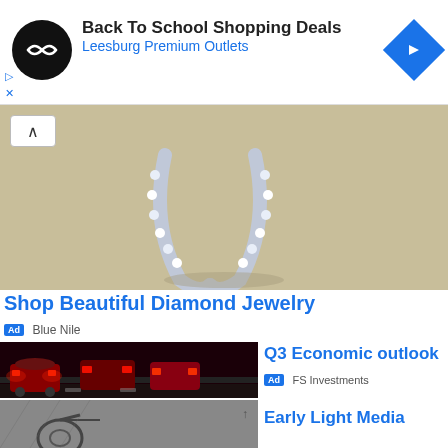[Figure (screenshot): Top banner ad for Back To School Shopping Deals at Leesburg Premium Outlets, with circular black logo, navigation arrow icon in blue diamond shape, and ad controls (play/close icons)]
[Figure (photo): Close-up photo of sparkling diamond hoop earrings on a beige/gold background, with a caret/up-arrow button in top left corner]
Shop Beautiful Diamond Jewelry
Ad Blue Nile
[Figure (photo): Photo of heavy traffic at night, cars with red tail lights on a multi-lane road]
Q3 Economic outlook
Ad FS Investments
[Figure (photo): Partial black and white photo visible at bottom left, appears to show bicycle or vehicle]
Early Light Media